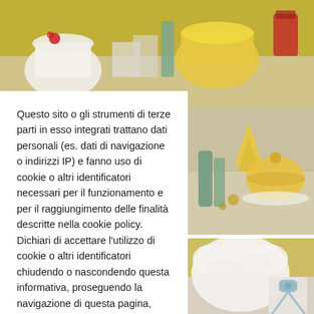[Figure (photo): Christmas table setting with decorated cakes, gifts and festive items — top banner photo]
[Figure (photo): Yellow and white decorated celebration cakes on a table — right side top photo]
[Figure (photo): White fluffy cake or decoration with blue ribbon gift — right side bottom photo]
[Figure (photo): Partial bottom photo of festive table items]
Questo sito o gli strumenti di terze parti in esso integrati trattano dati personali (es. dati di navigazione o indirizzi IP) e fanno uso di cookie o altri identificatori necessari per il funzionamento e per il raggiungimento delle finalità descritte nella cookie policy. Dichiari di accettare l'utilizzo di cookie o altri identificatori chiudendo o nascondendo questa informativa, proseguendo la navigazione di questa pagina, cliccando un link o un pulsante o continuando a navigare in altro modo.
Cookie settings
ACCETTA